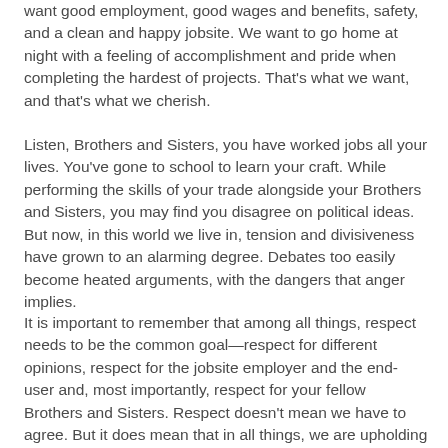want good employment, good wages and benefits, safety, and a clean and happy jobsite. We want to go home at night with a feeling of accomplishment and pride when completing the hardest of projects. That's what we want, and that's what we cherish.
Listen, Brothers and Sisters, you have worked jobs all your lives. You've gone to school to learn your craft. While performing the skills of your trade alongside your Brothers and Sisters, you may find you disagree on political ideas. But now, in this world we live in, tension and divisiveness have grown to an alarming degree. Debates too easily become heated arguments, with the dangers that anger implies.
It is important to remember that among all things, respect needs to be the common goal—respect for different opinions, respect for the jobsite employer and the end-user and, most importantly, respect for your fellow Brothers and Sisters. Respect doesn't mean we have to agree. But it does mean that in all things, we are upholding the Standard for Excellence, and we are representing the UA with the highest levels of class and civility.